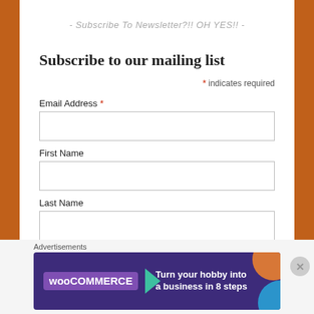- Subscribe To Newsletter?!! OH YES!! -
Subscribe to our mailing list
* indicates required
Email Address *
First Name
Last Name
Advertisements
[Figure (infographic): WooCommerce advertisement banner: dark purple background with teal triangle arrow, orange shape top-right, blue shape bottom-right. Text reads: Turn your hobby into a business in 8 steps. WooCommerce logo on left.]